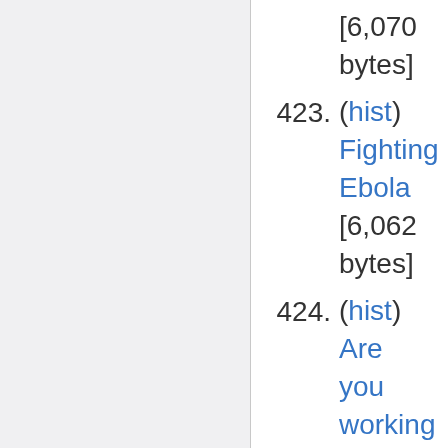she likes [6,070 bytes]
423. (hist) Fighting Ebola [6,062 bytes]
424. (hist) Are you working class in Britain? Then you